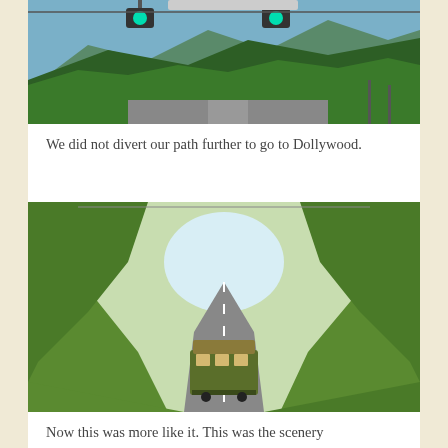[Figure (photo): Road through mountains with green tree-covered hills and traffic light signals visible at top, road and buildings in distance]
We did not divert our path further to go to Dollywood.
[Figure (photo): A trolley bus driving along a tree-lined road with bright green spring foliage forming a canopy over the road]
Now this was more like it. This was the scenery